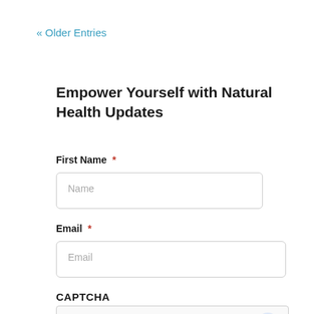« Older Entries
Empower Yourself with Natural Health Updates
First Name *
Name
Email *
Email
CAPTCHA